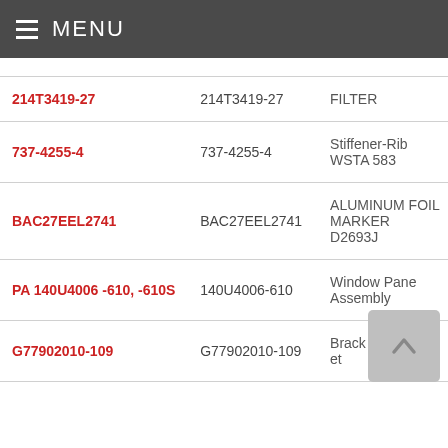MENU
|  |  |  |
| --- | --- | --- |
| 214T3419-27 | 214T3419-27 | FILTER |
| 737-4255-4 | 737-4255-4 | Stiffener-Rib WSTA 583 |
| BAC27EEL2741 | BAC27EEL2741 | ALUMINUM FOIL MARKER D2693J |
| PA 140U4006 -610, -610S | 140U4006-610 | Window Pane Assembly |
| G77902010-109 | G77902010-109 | Bracket |